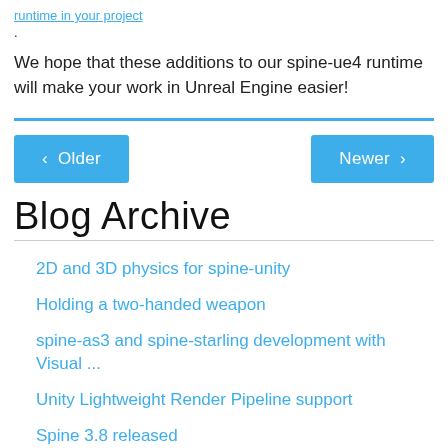runtime in your project.
We hope that these additions to our spine-ue4 runtime will make your work in Unreal Engine easier!
‹ Older
Newer ›
Blog Archive
2D and 3D physics for spine-unity
Holding a two-handed weapon
spine-as3 and spine-starling development with Visual ...
Unity Lightweight Render Pipeline support
Spine 3.8 released
Photoshop To Spine Script video